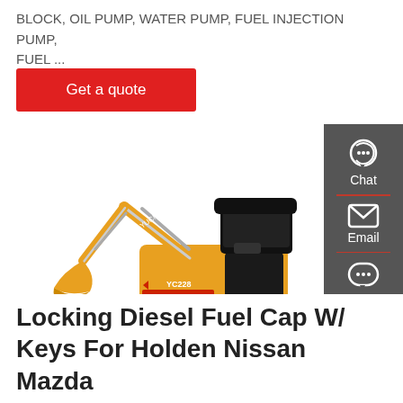BLOCK, OIL PUMP, WATER PUMP, FUEL INJECTION PUMP, FUEL ...
[Figure (other): Red 'Get a quote' button]
[Figure (photo): Yellow mini excavator (YUCHAI YC228) with black canopy, bucket arm extended, on white background. Sidebar with Chat, Email, Contact icons visible on the right.]
Locking Diesel Fuel Cap W/ Keys For Holden Nissan Mazda